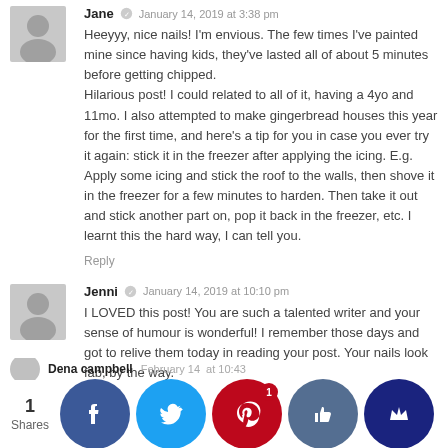Jane · January 14, 2019 at 3:38 pm
Heeyyy, nice nails! I'm envious. The few times I've painted mine since having kids, they've lasted all of about 5 minutes before getting chipped. Hilarious post! I could related to all of it, having a 4yo and 11mo. I also attempted to make gingerbread houses this year for the first time, and here's a tip for you in case you ever try it again: stick it in the freezer after applying the icing. E.g. Apply some icing and stick the roof to the walls, then shove it in the freezer for a few minutes to harden. Then take it out and stick another part on, pop it back in the freezer, etc. I learnt this the hard way, I can tell you.
Reply
Jenni · January 14, 2019 at 10:10 pm
I LOVED this post! You are such a talented writer and your sense of humour is wonderful! I remember those days and got to relive them today in reading your post. Your nails look fab, by the way.
Reply
Dena campbell · February 14 · at 10:43
[Figure (infographic): Social share bar with 1 Share count and buttons for Facebook, Twitter, Pinterest (with badge 1), Like/thumbs-up, and Crown]